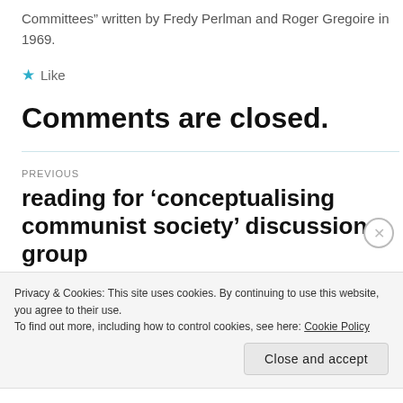Committees” written by Fredy Perlman and Roger Gregoire in 1969.
★ Like
Comments are closed.
PREVIOUS
reading for ‘conceptualising communist society’ discussion group
Privacy & Cookies: This site uses cookies. By continuing to use this website, you agree to their use.
To find out more, including how to control cookies, see here: Cookie Policy
Close and accept